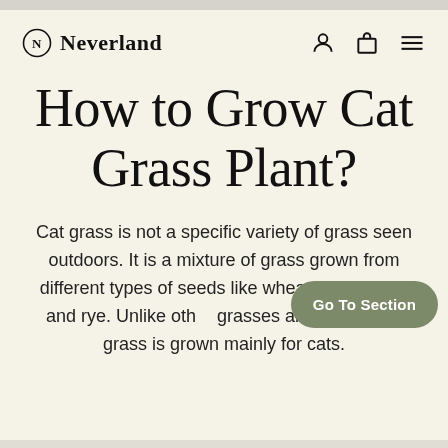Neverland
How to Grow Cat Grass Plant?
Cat grass is not a specific variety of grass seen outdoors. It is a mixture of grass grown from different types of seeds like wheat, oat, barley, and rye. Unlike other grasses and plants, cat grass is grown mainly for cats.